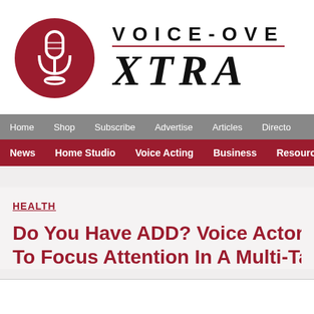[Figure (logo): Voice-Over Xtra logo with dark red microphone circle icon and bold text reading VOICE-OVER XTRA]
Home  Shop  Subscribe  Advertise  Articles  Directory
News  Home Studio  Voice Acting  Business  Resources
HEALTH
Do You Have ADD? Voice Actors Struggle To Focus Attention In A Multi-Task Wo...